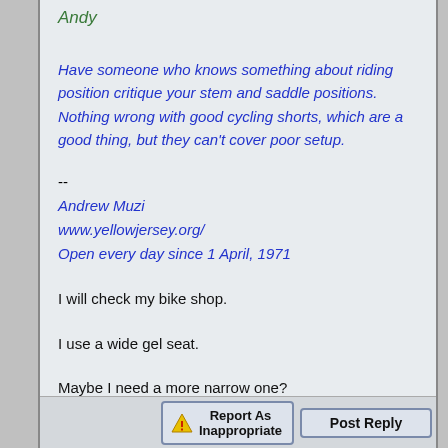Andy
Have someone who knows something about riding position critique your stem and saddle positions. Nothing wrong with good cycling shorts, which are a good thing, but they can't cover poor setup.
--
Andrew Muzi
www.yellowjersey.org/
Open every day since 1 April, 1971
I will check my bike shop.
I use a wide gel seat.
Maybe I need a more narrow one?
Andy
Report As Inappropriate   Post Reply